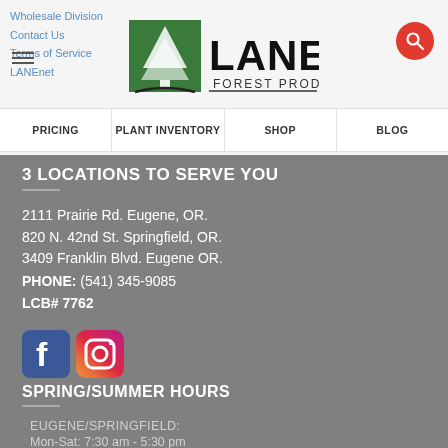Wholesale Division
Contact Us
Terms of Service
LANEnet
[Figure (logo): Lane Forest Products logo with pine tree icon]
[Figure (other): Red circular search button with magnifying glass icon]
PRICING | PLANT INVENTORY | SHOP | BLOG
3 LOCATIONS TO SERVE YOU
2111 Prairie Rd. Eugene, OR.
820 N. 42nd St. Springfield, OR.
3409 Franklin Blvd. Eugene OR.
PHONE: (541) 345-9085
LCB# 7762
[Figure (illustration): Facebook and Instagram social media icons]
SPRING/SUMMER HOURS
EUGENE/SPRINGFIELD:
Mon-Sat: 7:30 am - 5:30 pm
Sunday: 9:00 am - 5:00 pm